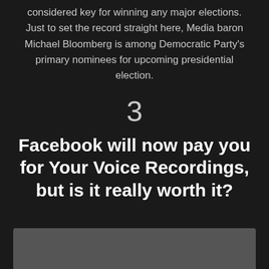considered key for winning any major elections. Just to set the record straight here, Media baron Michael Bloomberg is among Democratic Party's primary nominees for upcoming presidential election.
3
Facebook will now pay you for Your Voice Recordings, but is it really worth it?
[Figure (photo): Partially visible image at the bottom of the page, mostly cut off]